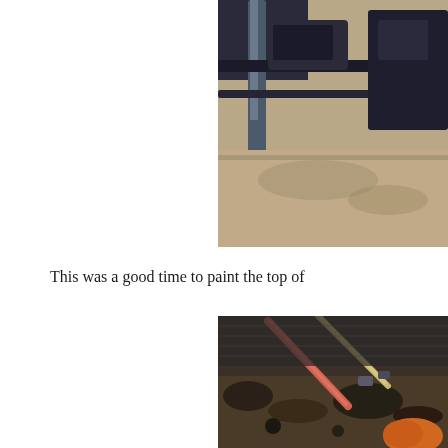[Figure (photo): Partial view of metal equipment or machinery, possibly farm or industrial equipment, with poles/handles visible against a light background, photographed from above. Image is cropped at the right edge of the page.]
This was a good time to paint the top of
[Figure (photo): Close-up photo of tools including what appears to be a pink/red handled tool (possibly a shovel or rake) among other equipment and debris on the ground. Image is cropped at the right edge of the page.]